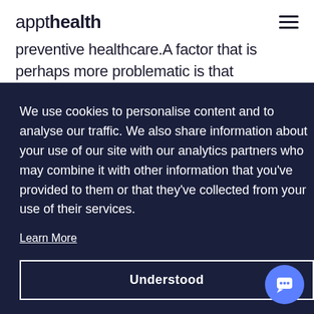appthealth
preventive healthcare.A factor that is perhaps more problematic is that motivation and ability
We use cookies to personalise content and to analyse our traffic. We also share information about your use of our site with our analytics partners who may combine it with other information that you've provided to them or that they've collected from your use of their services.
Learn More
Understood
this